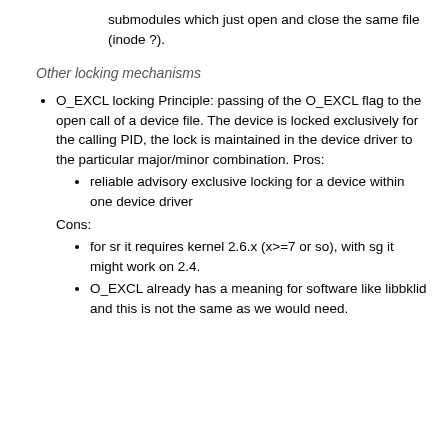submodules which just open and close the same file (inode ?).
Other locking mechanisms
O_EXCL locking Principle: passing of the O_EXCL flag to the open call of a device file. The device is locked exclusively for the calling PID, the lock is maintained in the device driver to the particular major/minor combination. Pros:
reliable advisory exclusive locking for a device within one device driver
Cons:
for sr it requires kernel 2.6.x (x>=7 or so), with sg it might work on 2.4.
O_EXCL already has a meaning for software like libbklid and this is not the same as we would need.